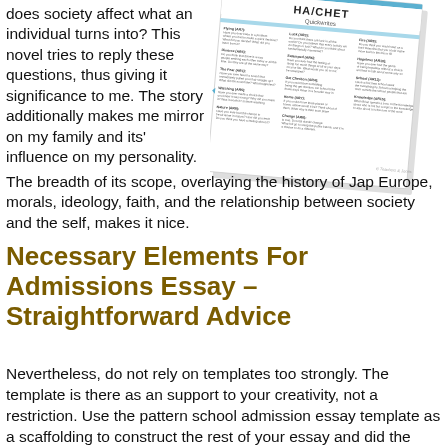does society affect what an individual turns into? This novel tries to reply these questions, thus giving it significance to me. The story additionally makes me mirror on my family and its' influence on my personality.
[Figure (illustration): A worksheet titled 'HATCHET Quickwrites' with multiple writing prompts organized in columns, shown at a slight angle.]
The breadth of its scope, overlaying the history of Jap Europe, morals, ideology, faith, and the relationship between society and the self, makes it nice.
Necessary Elements For Admissions Essay – Straightforward Advice
Nevertheless, do not rely on templates too strongly. The template is there as an support to your creativity, not a restriction. Use the pattern school admission essay template as a scaffolding to construct the rest of your essay and did the theme of your story.